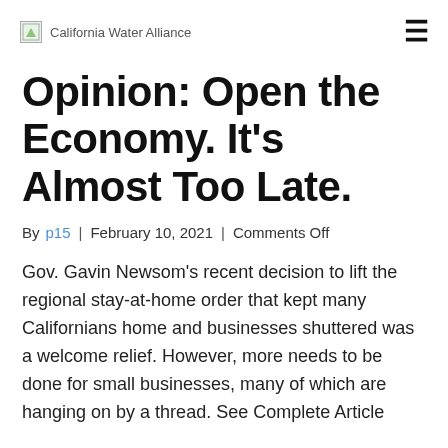California Water Alliance
Opinion: Open the Economy. It’s Almost Too Late.
By p15 | February 10, 2021 | Comments Off
Gov. Gavin Newsom’s recent decision to lift the regional stay-at-home order that kept many Californians home and businesses shuttered was a welcome relief. However, more needs to be done for small businesses, many of which are hanging on by a thread. See Complete Article